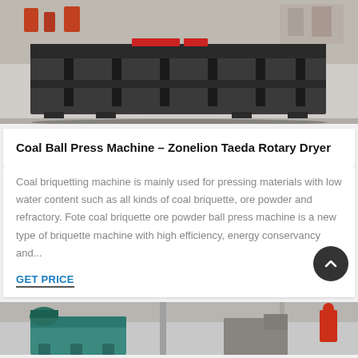[Figure (photo): Industrial coal ball press machine in a factory setting, dark gray metal machine on a concrete floor]
Coal Ball Press Machine – Zonelion Taeda Rotary Dryer
Coal briquetting machine is mainly used for pressing materials with low water content such as all kinds of coal briquette, ore powder and refractory. Fote coal briquette ore powder ball press machine is a new type of briquette machine with high efficiency, energy conservancy and...
GET PRICE
[Figure (photo): Industrial machine in a factory, teal/green colored equipment visible at bottom of page]